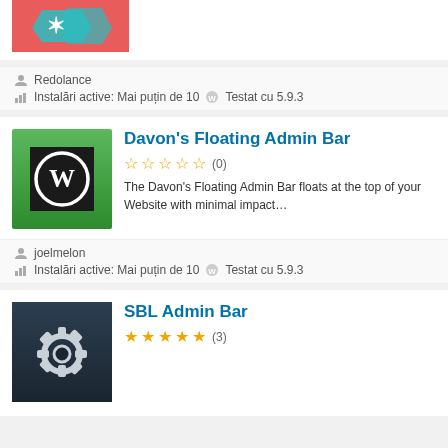[Figure (screenshot): Partial plugin card top showing a red/coral background with a teal cursor/arrow icon]
Redolance
Instalări active: Mai puțin de 10  Testat cu 5.9.3
[Figure (screenshot): Plugin card for Davon's Floating Admin Bar with green WordPress logo icon]
Davon's Floating Admin Bar
(0) - 0 stars
The Davon's Floating Admin Bar floats at the top of your Website with minimal impact…
joelmelon
Instalări active: Mai puțin de 10  Testat cu 5.9.3
[Figure (screenshot): Plugin card bottom showing SBL Admin Bar with dark gear/settings icon]
SBL Admin Bar
(3) - 5 stars